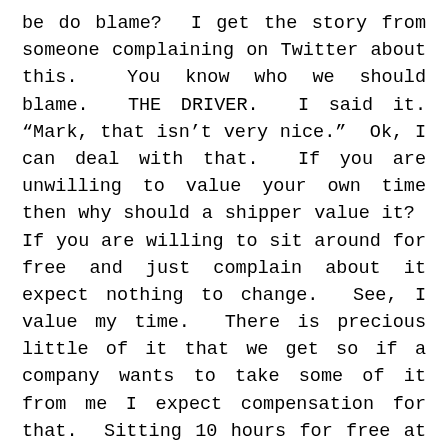be do blame?  I get the story from someone complaining on Twitter about this.  You know who we should blame.  THE DRIVER.  I said it. "Mark, that isn't very nice."  Ok, I can deal with that.  If you are unwilling to value your own time then why should a shipper value it?  If you are willing to sit around for free and just complain about it expect nothing to change.  See, I value my time.  There is precious little of it that we get so if a company wants to take some of it from me I expect compensation for that.  Sitting 10 hours for free at a place to pick up citrus, or anything really, just wouldn't be my thing.  I would have done at least some research BEFORE signing up to work somewhere, though.  A place that is not going to compensate me for things like this is not a place I am going to work.  If drivers did this companies would be forced to pay for this time.  Drivers